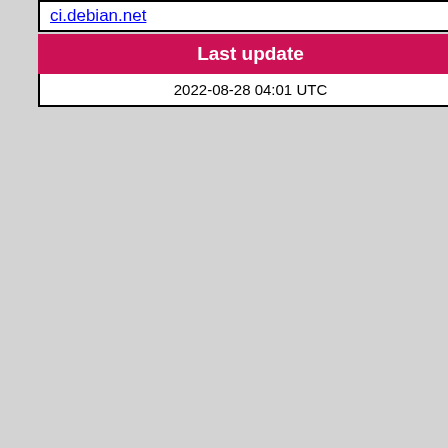ci.debian.net
Last update
2022-08-28 04:01 UTC
octave-nurbs
| Field | Value | Extra |
| --- | --- | --- |
| Binary: | octave-nan | piu... res... |
| Source: | octave-nurbs | piu... sur... |
| Maintainer: | Debian Octave Gr... team@tracker.deb... |  |
| Uploaders: | Thomas Weber <t... <rafael@debian.o... <sebastien@debi... <mtmiller@debian... |  |
| Binary: | octave-nurbs | piu... res... |
octave-parallel
| Field | Value | Extra |
| --- | --- | --- |
| Source: | octave-parallel | piu... sur... |
| Maintainer: | Debian Octave Gr... team@tracker.deb... |  |
| Uploaders: | Thomas Weber <t... <rafael@debian.o... |  |